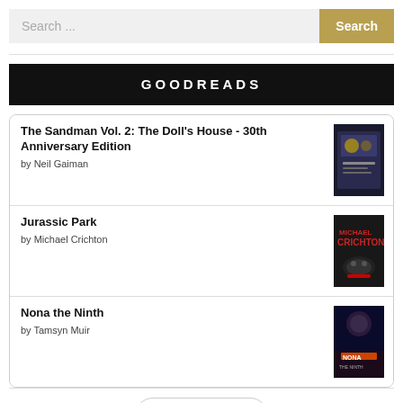Search ...  Search
GOODREADS
The Sandman Vol. 2: The Doll's House - 30th Anniversary Edition
by Neil Gaiman
Jurassic Park
by Michael Crichton
Nona the Ninth
by Tamsyn Muir
[Figure (logo): goodreads logo in rounded rectangle]
goodreads®